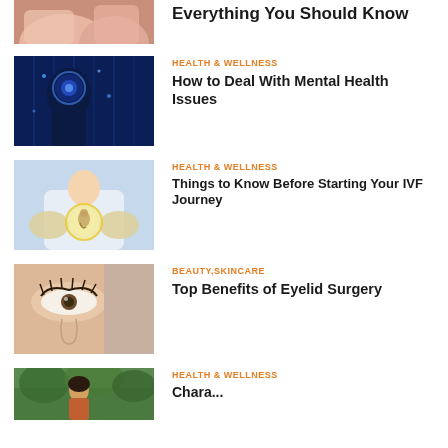[Figure (photo): Partial image of hands, cropped at top]
Everything You Should Know
[Figure (photo): Digital illustration of a human head silhouette with blue glowing brain/neural network]
HEALTH & WELLNESS
How to Deal With Mental Health Issues
[Figure (photo): Person in lab coat holding glowing orb with fetus symbol]
HEALTH & WELLNESS
Things to Know Before Starting Your IVF Journey
[Figure (photo): Close-up of a woman's eyes and nose with long eyelashes]
BEAUTY,SKINCARE
Top Benefits of Eyelid Surgery
[Figure (photo): Woman outdoors with greenery in background]
HEALTH & WELLNESS
Characteristics of Panic Attack...